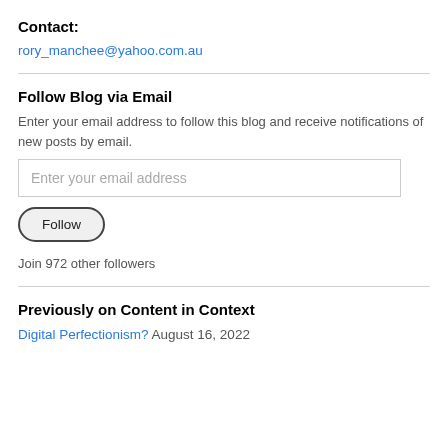Contact:
rory_manchee@yahoo.com.au
Follow Blog via Email
Enter your email address to follow this blog and receive notifications of new posts by email.
Enter your email address
Follow
Join 972 other followers
Previously on Content in Context
Digital Perfectionism? August 16, 2022